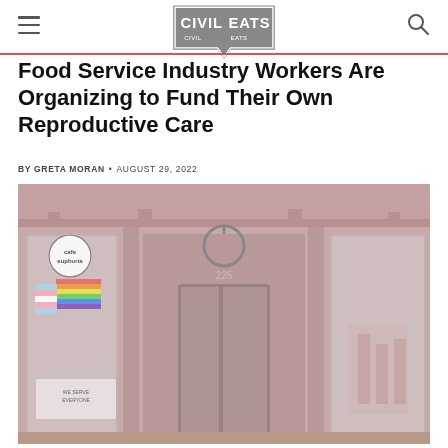Civil Eats
Food Service Industry Workers Are Organizing to Fund Their Own Reproductive Care
BY GRETA MORAN • AUGUST 29, 2022
[Figure (photo): Exterior of Cafe Euphoria storefront at 225, showing windows with pride flags and a circular cafe logo sign. Brick building facade with ornate architectural details.]